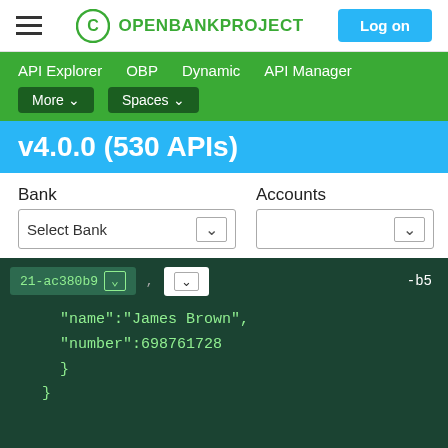Open Bank Project - Log on
API Explorer  OBP  Dynamic  API Manager  More ▾  Spaces ▾
v4.0.0 (530 APIs)
Bank   Accounts   Select Bank ∨   Views   Counterparties
21-ac380b9  ∨  ,   ∨  -b5
"name":"James Brown",
"number":698761728
    }
  }